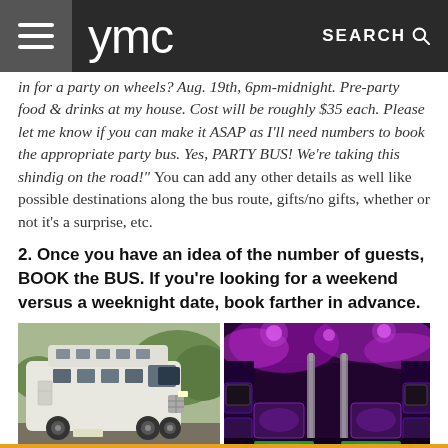ymc  SEARCH
in for a party on wheels? Aug. 19th, 6pm-midnight. Pre-party food & drinks at my house. Cost will be roughly $35 each. Please let me know if you can make it ASAP as I'll need numbers to book the appropriate party bus. Yes, PARTY BUS! We're taking this shindig on the road!" You can add any other details as well like possible destinations along the bus route, gifts/no gifts, whether or not it's a surprise, etc.
2. Once you have an idea of the number of guests, BOOK the BUS. If you're looking for a weekend versus a weeknight date, book farther in advance.
[Figure (photo): White party bus exterior parked outdoors]
[Figure (photo): Interior of party bus with purple/pink LED lighting and poles]